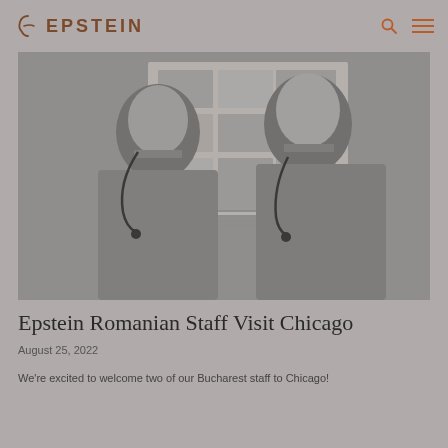EPSTEIN
[Figure (photo): Black and white photograph of two men standing in front of an architectural project display board with pinned renderings and drawings]
Epstein Romanian Staff Visit Chicago
August 25, 2022
We're excited to welcome two of our Bucharest staff to Chicago!